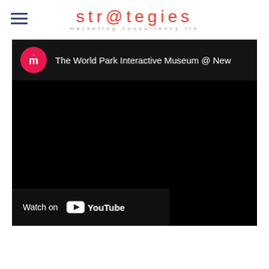str@tegies marketing consultancy ltd
[Figure (screenshot): YouTube video embed showing 'The World Park Interactive Museum @ New...' with a black video frame, channel icon (pink circle with white 'm' logo), video title at top, and 'Watch on YouTube' button at bottom left.]